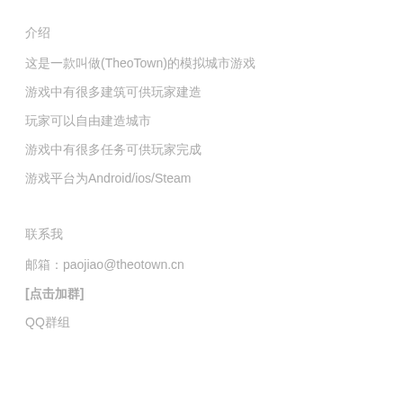介绍
这是一款叫做(TheoTown)的模拟城市游戏
游戏中有很多建筑可供玩家建造
玩家可以自由建造城市
游戏中有很多任务可供玩家完成
游戏平台为Android/ios/Steam
联系我
邮箱：paojiao@theotown.cn
[点击加群]
QQ群组